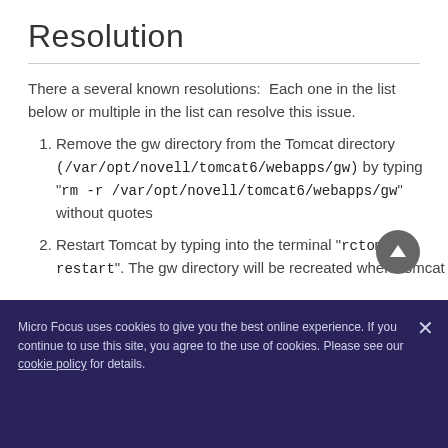Resolution
There a several known resolutions:  Each one in the list below or multiple in the list can resolve this issue.
Remove the gw directory from the Tomcat directory (/var/opt/novell/tomcat6/webapps/gw) by typing "rm -r /var/opt/novell/tomcat6/webapps/gw" without quotes
Restart Tomcat by typing into the terminal "rctomcat6 restart". The gw directory will be recreated when Tomcat
Micro Focus uses cookies to give you the best online experience. If you continue to use this site, you agree to the use of cookies. Please see our cookie policy for details.